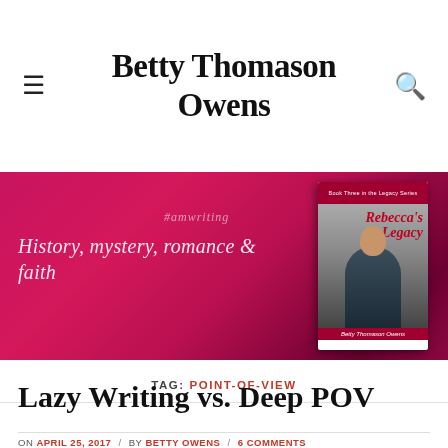Betty Thomason Owens
[Figure (photo): Website banner with pink/red rose background, text '#amwriting' and italic script 'History, mystery, romance & faith', and a book cover for 'Rebecca's Legacy' by Betty Thomason Owens showing a woman in a polka-dot dress]
TAG: POINT-OF-VIEW
Lazy Writing vs. Deep POV
ON APRIL 25, 2017 / BY BETTY OWENS / 6 COMMENTS